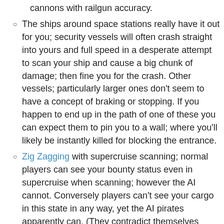cannons with railgun accuracy.
The ships around space stations really have it out for you; security vessels will often crash straight into yours and full speed in a desperate attempt to scan your ship and cause a big chunk of damage; then fine you for the crash. Other vessels; particularly larger ones don't seem to have a concept of braking or stopping. If you happen to end up in the path of one of these you can expect them to pin you to a wall; where you'll likely be instantly killed for blocking the entrance.
Zig Zagging with supercruise scanning; normal players can see your bounty status even in supercruise when scanning; however the AI cannot. Conversely players can't see your cargo in this state in any way, yet the AI pirates apparently can. (They contradict themselves though; they'll say they know you have a huge cargo hold, yet still, need to scan you to see it.)
Also AI ships are completely immune to heat damage